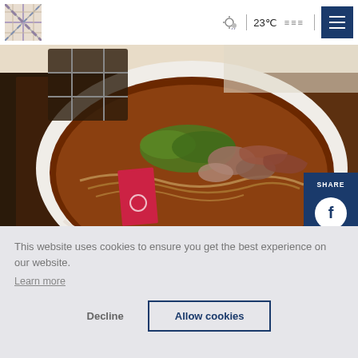Logo | weather icon | 23℃ | menu lines | hamburger menu
[Figure (photo): A bowl of soba noodles in dark broth with scallions, mushrooms, and meat toppings on a dark wooden tray]
SHARE
[Figure (illustration): Facebook share icon (white circle with F)]
[Figure (illustration): Twitter share icon (white circle with bird)]
[Figure (illustration): Link/copy share icon (white circle with chain links)]
This website uses cookies to ensure you get the best experience on our website.
Learn more
and
Decline
Allow cookies
ground in a stone mill every morning to make the soba noodles in